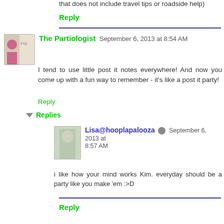that does not include travel tips or roadside help)
Reply
The Partiologist September 6, 2013 at 8:54 AM
I tend to use little post it notes everywhere! And now you come up with a fun way to remember - it's like a post it party!
Reply
Replies
Lisa@hooplapalooza September 6, 2013 at 8:57 AM
i like how your mind works Kim. everyday should be a party like you make 'em :>D
Reply